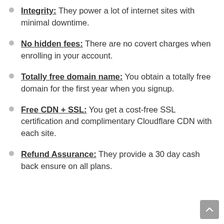Integrity: They power a lot of internet sites with minimal downtime.
No hidden fees: There are no covert charges when enrolling in your account.
Totally free domain name: You obtain a totally free domain for the first year when you signup.
Free CDN + SSL: You get a cost-free SSL certification and complimentary Cloudflare CDN with each site.
Refund Assurance: They provide a 30 day cash back ensure on all plans.